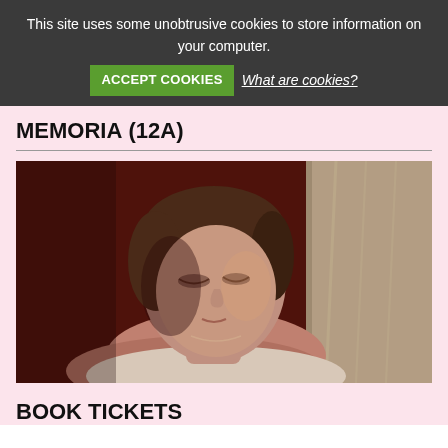This site uses some unobtrusive cookies to store information on your computer.
ACCEPT COOKIES  What are cookies?
MEMORIA (12A)
[Figure (photo): A woman with short brown hair wearing a light-coloured top sits with eyes closed or downcast in a dimly lit room with reddish tones, a curtained window visible to the right.]
BOOK TICKETS